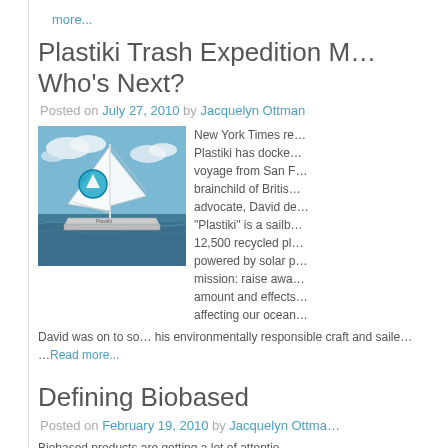more...
Plastiki Trash Expedition M… Who's Next?
Posted on July 27, 2010 by Jacquelyn Ottman
[Figure (photo): Sailboat called Plastiki on the ocean with blue sky and clouds, white sails, blue logo on sail]
New York Times re... Plastiki has docke... voyage from San F... brainchild of Britis... advocate, David de... "Plastiki" is a sailb... 12,500 recycled pl... powered by solar p... mission: raise awa... amount and effects... affecting our ocean...
David was on to so... his environmentally responsible craft and saile... ...Read more...
Defining Biobased
Posted on February 19, 2010 by Jacquelyn Ottma...
Biobased products are getting a lot of attentio... the idea of making products out of corn, sow...